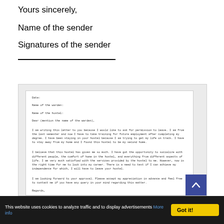Yours sincerely,
Name of the sender
Signatures of the sender
[Figure (illustration): A preview of a letter to a hostel warden requesting permission to leave, shown inside a gray-bordered box. Contains fields for Date, Name of the warden, Name of the hostel, salutation, and body paragraphs followed by 'Regards,' at the bottom. A blue scroll-to-top button is in the bottom-right corner.]
This website uses cookies to analyze traffic and to display advertisements More info | Got it!